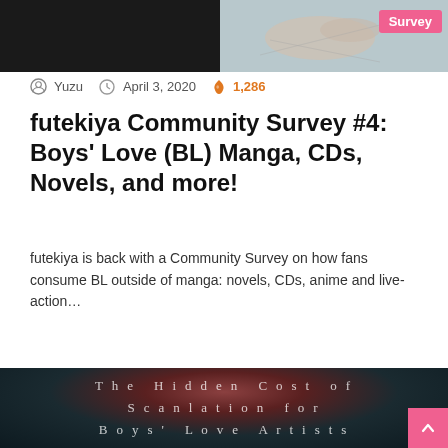[Figure (photo): Top partial image showing dark background on left and hand/diagram on right, with a pink 'Survey' badge in the top right corner]
Yuzu  April 3, 2020  1,286
futekiya Community Survey #4: Boys' Love (BL) Manga, CDs, Novels, and more!
futekiya is back with a Community Survey on how fans consume BL outside of manga: novels, CDs, anime and live-action…
Read More »
[Figure (photo): Dark atmospheric image with blurred warm and cool tones, overlaid with spaced white text reading 'The Hidden Cost of Scanlation for Boys' Love Artists']